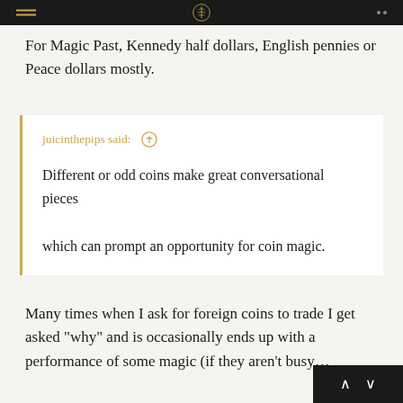For Magic Past, Kennedy half dollars, English pennies or Peace dollars mostly.
juicinthepips said: ↑

Different or odd coins make great conversational pieces which can prompt an opportunity for coin magic.
Many times when I ask for foreign coins to trade I get asked "why" and is occasionally ends up with a performance of some magic (if they aren't busy…